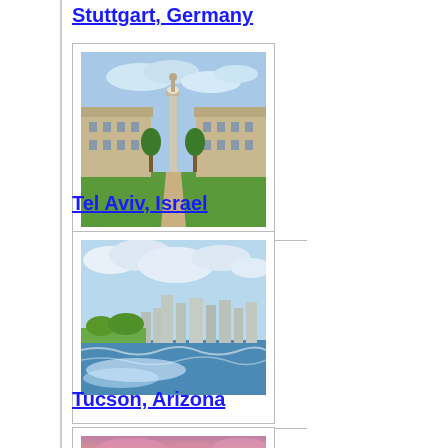Stuttgart, Germany
[Figure (photo): Photo of Stuttgart Germany showing a monument/column in the center with palace buildings on either side and green lawn in foreground]
Tel Aviv, Israel
[Figure (photo): Photo of Tel Aviv Israel showing coastal city skyline with ocean waves and greenery in foreground]
Tucson, Arizona
[Figure (photo): Photo of Tucson Arizona showing a pink and orange sunset sky with dark tree silhouettes in foreground]